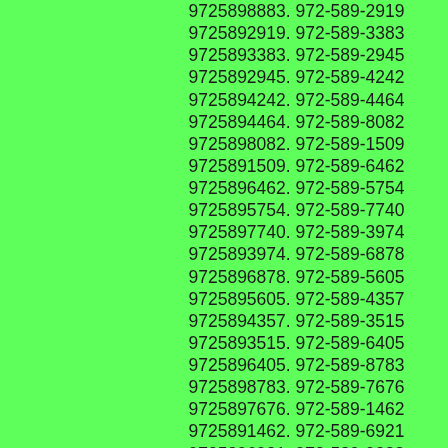9725898883. 972-589-2919
9725892919. 972-589-3383
9725893383. 972-589-2945
9725892945. 972-589-4242
9725894242. 972-589-4464
9725894464. 972-589-8082
9725898082. 972-589-1509
9725891509. 972-589-6462
9725896462. 972-589-5754
9725895754. 972-589-7740
9725897740. 972-589-3974
9725893974. 972-589-6878
9725896878. 972-589-5605
9725895605. 972-589-4357
9725894357. 972-589-3515
9725893515. 972-589-6405
9725896405. 972-589-8783
9725898783. 972-589-7676
9725897676. 972-589-1462
9725891462. 972-589-6921
9725896921. 972-589-9288
9725899288. 972-589-3710
9725893710. 972-589-8382
9725898382. 972-589-0023
9725890023.  972-589-9419
9725899419. 972-589-4287